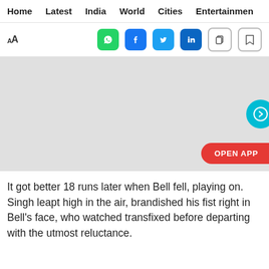Home  Latest  India  World  Cities  Entertainment
[Figure (screenshot): Social sharing toolbar with font size icon (AA), WhatsApp, Facebook, Twitter, LinkedIn, copy, and bookmark buttons]
[Figure (photo): Light grey placeholder image area with a teal circular next-arrow button on the right edge and an 'OPEN APP' red pill button at the bottom right]
It got better 18 runs later when Bell fell, playing on. Singh leapt high in the air, brandished his fist right in Bell's face, who watched transfixed before departing with the utmost reluctance.